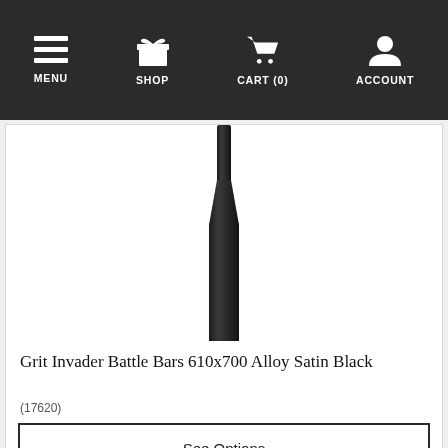MENU  SHOP  CART (0)  ACCOUNT
[Figure (photo): A black alloy handlebar post/stem photographed vertically against a white background — Grit Invader Battle Bars 610x700 Alloy Satin Black]
Grit Invader Battle Bars 610x700 Alloy Satin Black
(17620)
See Options